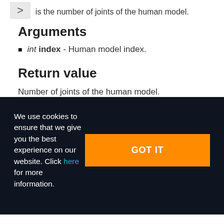is the number of joints of the human model.
Arguments
int index - Human model index.
Return value
Number of joints of the human model.
We use cookies to ensure that we give you the best experience on our website. Click here for more information.